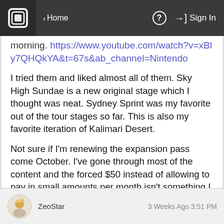Home  ?  Sign In
morning. https://www.youtube.com/watch?v=xBly7QHQkYA&t=67s&ab_channel=Nintendo
I tried them and liked almost all of them. Sky High Sundae is a new original stage which I thought was neat. Sydney Sprint was my favorite out of the tour stages so far. This is also my favorite iteration of Kalimari Desert.
Not sure if I'm renewing the expansion pass come October. I've gone through most of the content and the forced $50 instead of allowing to pay in small amounts per month isn't something I like.
View Conversation
ZeoStar   3 Weeks Ago 3:51 PM